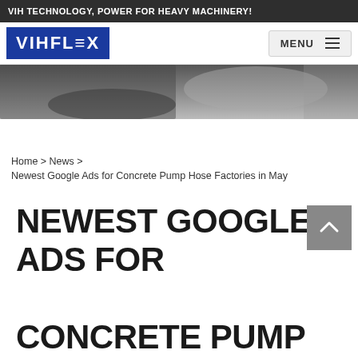VIH TECHNOLOGY, POWER FOR HEAVY MACHINERY!
[Figure (logo): VIHFLEX logo — white text on blue background with stylized letters]
[Figure (photo): Partial photo of heavy machinery or equipment, dark tones]
Home > News >
Newest Google Ads for Concrete Pump Hose Factories in May
NEWEST GOOGLE ADS FOR CONCRETE PUMP HOSE FACTORIES IN MAY